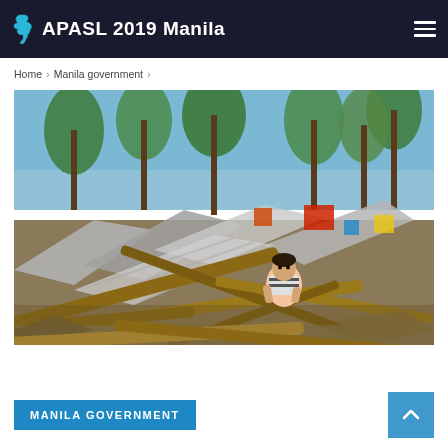APASL 2019 Manila
Home › Manila government ›
[Figure (photo): A young boy sitting amid debris of destroyed wooden structures and roofing materials after a typhoon disaster, with palm trees in the background]
MANILA GOVERNMENT